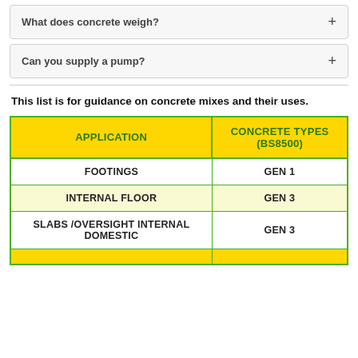What does concrete weigh?
Can you supply a pump?
This list is for guidance on concrete mixes and their uses.
| APPLICATION | CONCRETE TYPES (BS8500) |
| --- | --- |
| FOOTINGS | GEN 1 |
| INTERNAL FLOOR | GEN 3 |
| SLABS /OVERSIGHT INTERNAL DOMESTIC | GEN 3 |
|  |  |